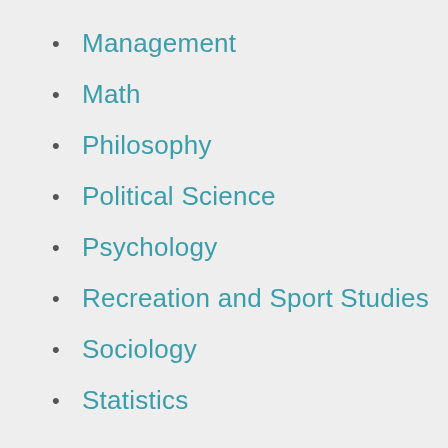Management
Math
Philosophy
Political Science
Psychology
Recreation and Sport Studies
Sociology
Statistics
Individual courses
Anthropology